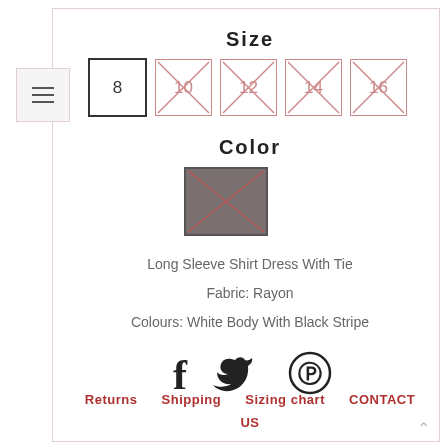Size
[Figure (other): Size selector with boxes labeled 8 (selected), 10, 12, 14, 16 (10-16 crossed out in red indicating unavailable)]
Color
[Figure (other): Color swatch box showing a dark brownish-grey color with an X cross through it]
Long Sleeve Shirt Dress With Tie
Fabric: Rayon
Colours: White Body With Black Stripe
[Figure (other): Social media icons: Facebook, Twitter, Pinterest]
Returns
Shipping
Sizing chart
CONTACT US